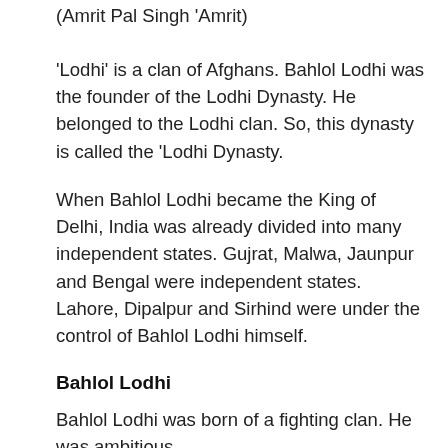(Amrit Pal Singh 'Amrit)
'Lodhi' is a clan of Afghans. Bahlol Lodhi was the founder of the Lodhi Dynasty. He belonged to the Lodhi clan. So, this dynasty is called the 'Lodhi Dynasty.
When Bahlol Lodhi became the King of Delhi, India was already divided into many independent states. Gujrat, Malwa, Jaunpur and Bengal were independent states. Lahore, Dipalpur and Sirhind were under the control of Bahlol Lodhi himself.
Bahlol Lodhi
Bahlol Lodhi was born of a fighting clan. He was ambitious and determined to restore the strength of the Kingdom.
His grandfather Malik Bahram migrated to Multan during the reign of Firoz Tughluq. Malik Bahram worked under Malik